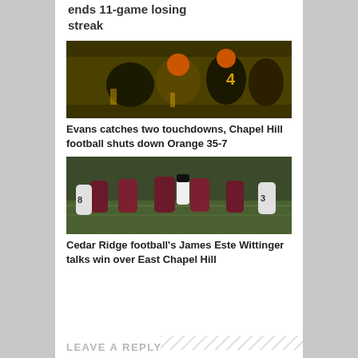ends 11-game losing streak
[Figure (photo): Football players in black and gold uniforms tackling a player in orange helmet]
Evans catches two touchdowns, Chapel Hill football shuts down Orange 35-7
[Figure (photo): Football players in maroon and white uniforms on a green field]
Cedar Ridge football's James Este Wittinger talks win over East Chapel Hill
LEAVE A REPLY